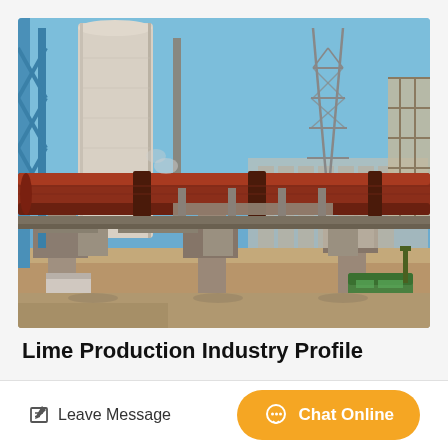[Figure (photo): Industrial lime production facility showing a large rotary kiln (red cylindrical pipe) running horizontally across the frame, a tall concrete silo on the left, steel scaffolding and construction structures in the background, a communications tower, and a yellow construction vehicle on the right. Blue sky visible above.]
Lime Production Industry Profile
Leave Message  Chat Online